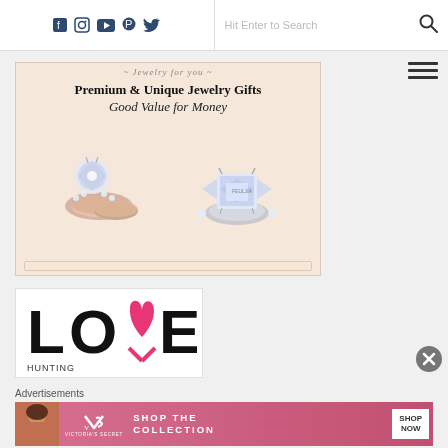Social media icons (Facebook, Instagram, YouTube, Pinterest, Twitter) | Hit Enter to Search [search icon]
[Figure (advertisement): Jewelry advertisement with text 'Premium & Unique Jewelry Gifts Good Value for Money' and images of two diamond rings on a light pink/beige background]
[Figure (logo): LOVE logo in large bold letters with a heart shape replacing the 'V', partially visible]
Advertisements
[Figure (advertisement): Victoria's Secret banner ad showing a model, VS logo, 'SHOP THE COLLECTION' text, and 'SHOP NOW' button]